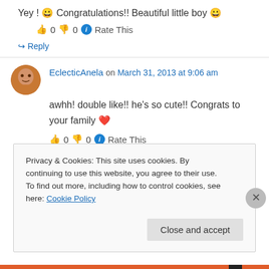Yey ! 😀 Congratulations!! Beautiful little boy 😀
👍 0 👎 0 ℹ Rate This
↳ Reply
EclecticAnela on March 31, 2013 at 9:06 am
awhh! double like!! he's so cute!! Congrats to your family ❤
👍 0 👎 0 ℹ Rate This
Privacy & Cookies: This site uses cookies. By continuing to use this website, you agree to their use.
To find out more, including how to control cookies, see here: Cookie Policy